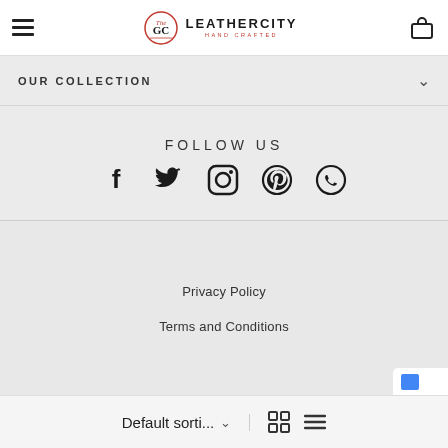THE LEATHER CITY — HAND CRAFTED
OUR COLLECTION
FOLLOW US
[Figure (illustration): Social media icons: Facebook, Twitter, Instagram, Pinterest, WhatsApp]
WE ACCEPT
Privacy Policy
Terms and Conditions
Default sorti...